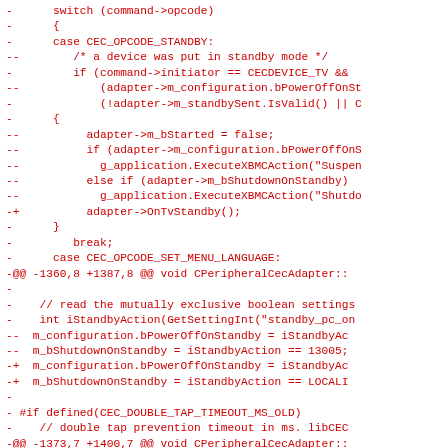[Figure (other): Source code diff showing C++ code for CEC adapter standby handling and configuration settings, displayed in red monospace font on white background]